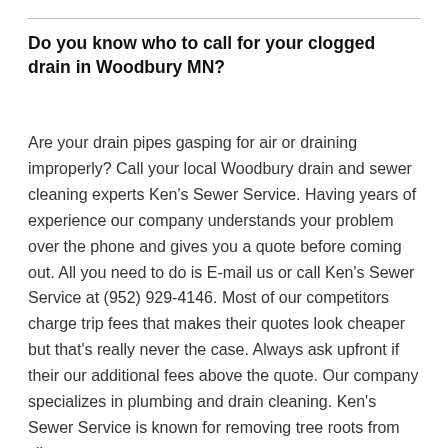Do you know who to call for your clogged drain in Woodbury MN?
Are your drain pipes gasping for air or draining improperly? Call your local Woodbury drain and sewer cleaning experts Ken's Sewer Service. Having years of experience our company understands your problem over the phone and gives you a quote before coming out. All you need to do is E-mail us or call Ken's Sewer Service at (952) 929-4146. Most of our competitors charge trip fees that makes their quotes look cheaper but that's really never the case. Always ask upfront if their our additional fees above the quote. Our company specializes in plumbing and drain cleaning. Ken's Sewer Service is known for removing tree roots from clients sewer systems.